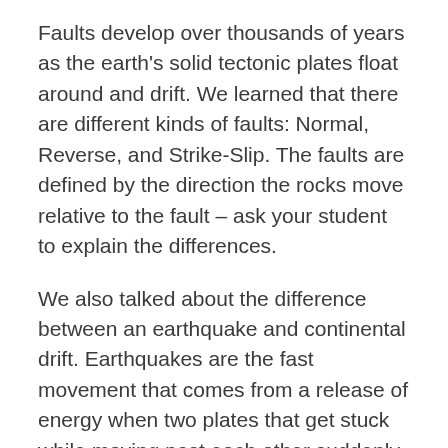Faults develop over thousands of years as the earth's solid tectonic plates float around and drift. We learned that there are different kinds of faults: Normal, Reverse, and Strike-Slip. The faults are defined by the direction the rocks move relative to the fault – ask your student to explain the differences.
We also talked about the difference between an earthquake and continental drift. Earthquakes are the fast movement that comes from a release of energy when two plates that get stuck while moving past each other suddenly release. The shape of continents and mountains also result from tectonic plates moving and crashing into each other, but in their case the changes happen slowly over millions of years. In fact, the Himalayan mountain range started forming when the India plate crashed into the Eurasian plate about 45 million years ago and it is still growing.